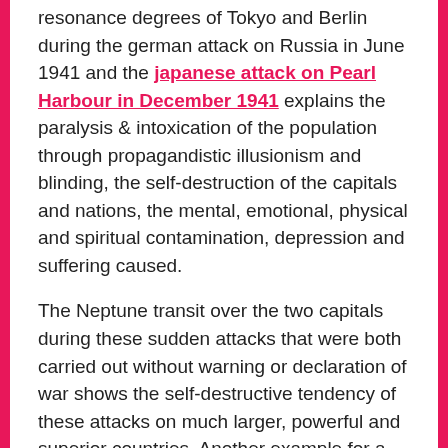resonance degrees of Tokyo and Berlin during the german attack on Russia in June 1941 and the japanese attack on Pearl Harbour in December 1941 explains the paralysis & intoxication of the population through propagandistic illusionism and blinding, the self-destruction of the capitals and nations, the mental, emotional, physical and spiritual contamination, depression and suffering caused.
The Neptune transit over the two capitals during these sudden attacks that were both carried out without warning or declaration of war shows the self-destructive tendency of these attacks on much larger, powerful and superior countries. Another example for a war begun under a Neptune transit over the capital was the Iraqi attack on Kuwait which led to the destruction of Baghdad in the 2nd Gulf war between August, 2 1990 and February, 28 1991).